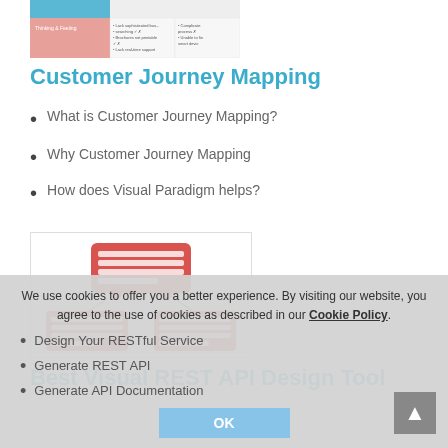[Figure (screenshot): Customer Journey Mapping diagram screenshot showing a table with Thinking & Feeling row and columns with pain points]
Customer Journey Mapping
What is Customer Journey Mapping?
Why Customer Journey Mapping
How does Visual Paradigm helps?
[Figure (illustration): REST API design diagram showing red database/table icons in a hierarchy — one parent connected to two child nodes]
Best Visual REST API Design Tool
Design Your RESTful Service
Generate REST API
Generate API Documentation
We use cookies to offer you a better experience. By visiting our website, you agree to the use of cookies as described in our Cookie Policy.